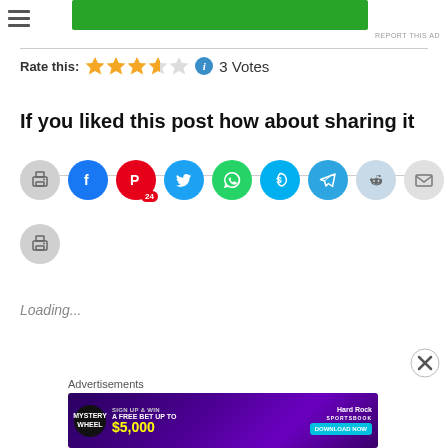[Figure (other): Green advertisement banner at top]
REPORT THIS AD
Rate this: ★★★★☆ ℹ 3 Votes
If you liked this post how about sharing it
[Figure (other): Social sharing buttons row: print, Facebook, Pinterest (24), Twitter, WhatsApp, Skype, Telegram, Reddit, Email, Tumblr, LinkedIn]
[Figure (other): Second row social sharing button: print]
Loading...
Advertisements
[Figure (other): Hard Rock Sportsbook advertisement banner: Mystery Wheel, Sign Up & Win A Free Bet Up To $5,000, Download Now]